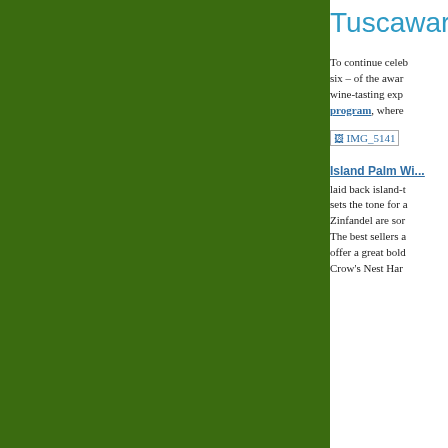Tuscawara...
To continue celeb... six – of the awar... wine-tasting expe... program, where...
[Figure (photo): IMG_5141 image placeholder/broken image link]
Island Palm Wi...
laid back island-t... sets the tone for a... Zinfandel are som... The best sellers a... offer a great bold... Crow's Nest Har...